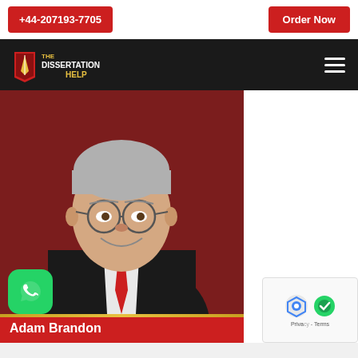+44-207193-7705
Order Now
[Figure (logo): The Dissertation Help logo with pen icon on dark navbar background]
[Figure (photo): Professional headshot of a middle-aged man with grey hair, glasses, wearing a dark suit with a red tie, smiling against a dark red background. Name shown below: Adam Brandon]
Adam Brandon